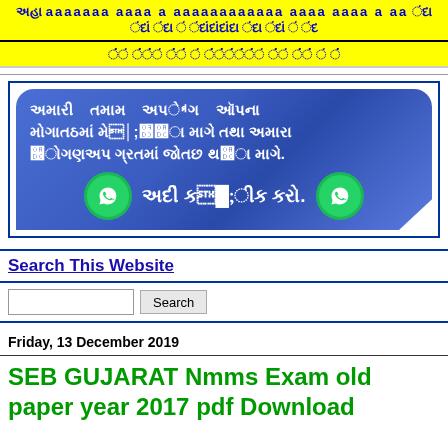Gujarati text banner (yellow background)
[Figure (infographic): WhatsApp group join banner in Gujarati with blue rounded box and two WhatsApp icons. Text reads: અમારી તમામ અપડેટ આપના મોબાઈલમાં મેળવવા માટે તથા અમારા વોટ્સઅપ ગ્રુપમાં જોઈન થવા માટે. અહીં કલીક કરો.]
Search This Website
Search input and button
Friday, 13 December 2019
SEB GUJARAT Nmms Exam old paper year 2017 pdf Download